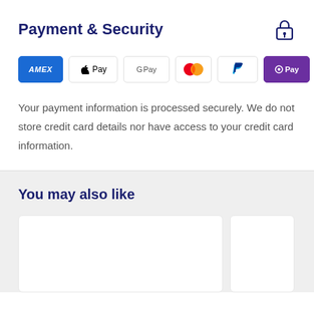Payment & Security
[Figure (logo): Payment method icons: American Express, Apple Pay, Google Pay, Mastercard, PayPal, OPay, Visa]
Your payment information is processed securely. We do not store credit card details nor have access to your credit card information.
You may also like
[Figure (other): Product recommendation cards (partially visible)]